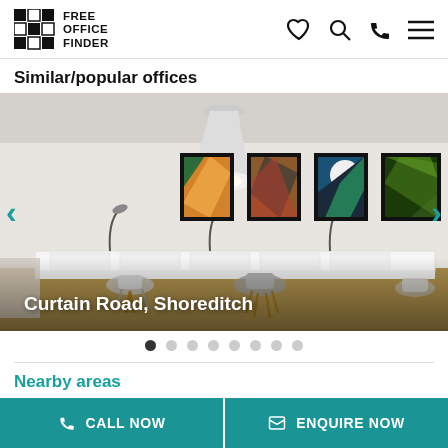FREE OFFICE FINDER
Similar/popular offices
[Figure (photo): Interior of a modern shared office space at Curtain Road, Shoreditch. Long white desk with task chairs, multiple pendant lights, four framed colorful artworks on the wall.]
Nearby areas
CALL NOW
ENQUIRE NOW